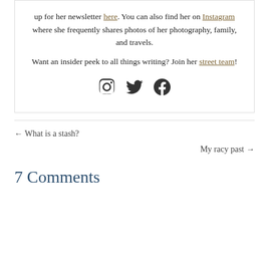up for her newsletter here. You can also find her on Instagram where she frequently shares photos of her photography, family, and travels.
Want an insider peek to all things writing? Join her street team!
[Figure (infographic): Social media icons: Instagram, Twitter, Facebook]
← What is a stash?
My racy past →
7 Comments